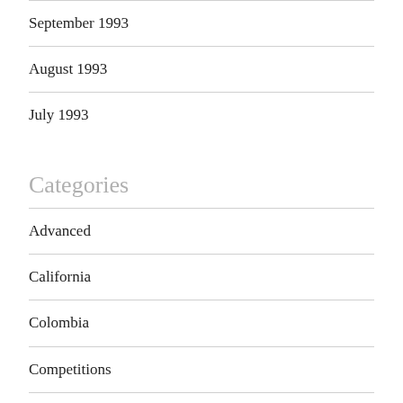September 1993
August 1993
July 1993
Categories
Advanced
California
Colombia
Competitions
Czech Republic
Germany